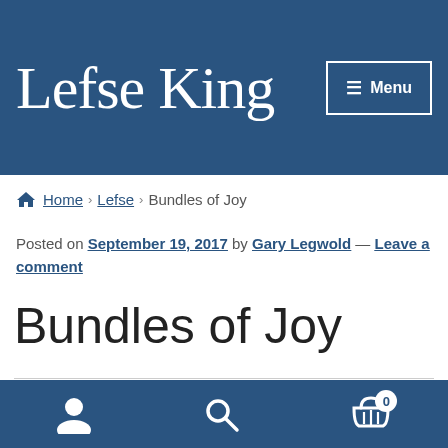Lefse King — Menu
Home › Lefse › Bundles of Joy
Posted on September 19, 2017 by Gary Legwold — Leave a comment
Bundles of Joy
[Figure (photo): Partial view of a cooking appliance or griddle, showing a red indicator light and the label '464-03E' on a dark surface, with a light blue/grey background.]
Account icon | Search icon | Cart icon with badge 0